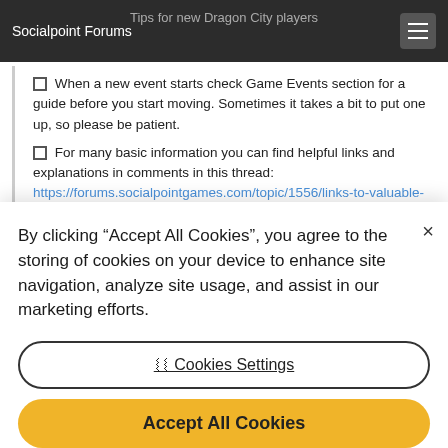Socialpoint Forums | Tips for new Dragon City players
When a new event starts check Game Events section for a guide before you start moving. Sometimes it takes a bit to put one up, so please be patient.
For many basic information you can find helpful links and explanations in comments in this thread: https://forums.socialpointgames.com/topic/1556/links-to-valuable-information
By clicking “Accept All Cookies”, you agree to the storing of cookies on your device to enhance site navigation, analyze site usage, and assist in our marketing efforts.
×
⧙⧙ Cookies Settings
Accept All Cookies